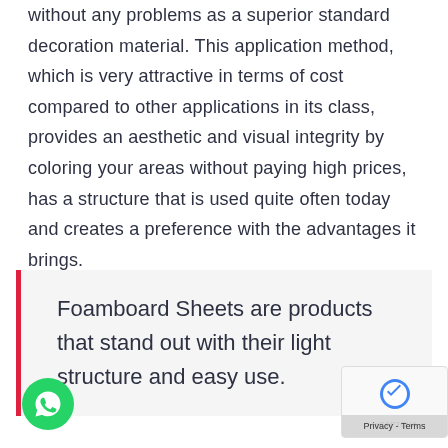without any problems as a superior standard decoration material. This application method, which is very attractive in terms of cost compared to other applications in its class, provides an aesthetic and visual integrity by coloring your areas without paying high prices, has a structure that is used quite often today and creates a preference with the advantages it brings.
Foamboard Sheets are products that stand out with their light structure and easy use.